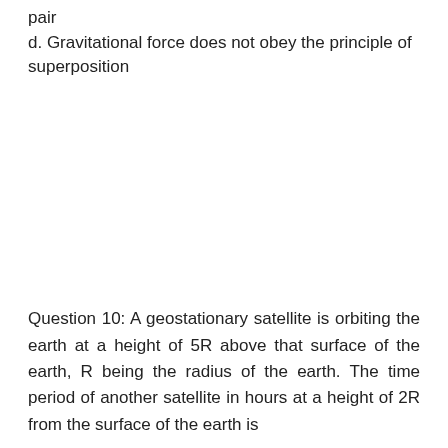pair
d. Gravitational force does not obey the principle of superposition
Question 10: A geostationary satellite is orbiting the earth at a height of 5R above that surface of the earth, R being the radius of the earth. The time period of another satellite in hours at a height of 2R from the surface of the earth is